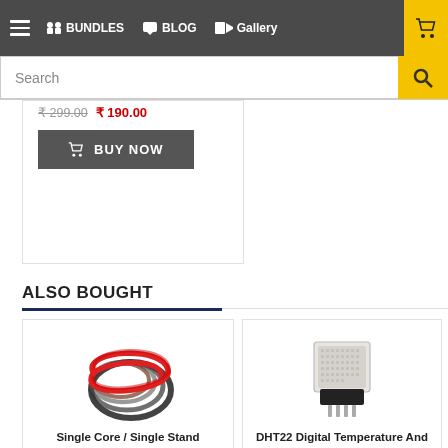☰  BUNDLES  BLOG  Gallery  🛒
Search
₹ 299.00  ₹ 190.00
BUY NOW
ALSO BOUGHT
[Figure (photo): Coiled jumper wires (red, black, brown) — Single Core / Single Stand Breadboard Jumper Hook Up Cable Wire (1 meter). SKU: RM2919. In Stock (96).]
[Figure (photo): DHT22 Digital Temperature and Humidity Sensor module for Arduino/Raspberry Pi. SKU: RM0834. In Stock (30).]